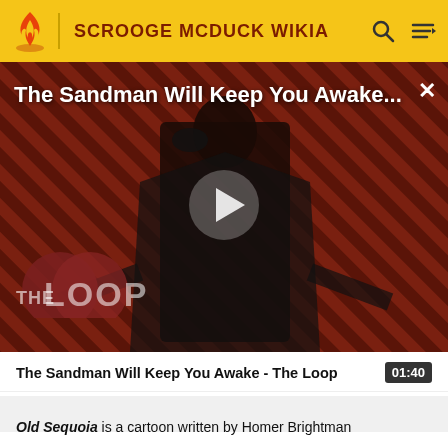SCROOGE MCDUCK WIKIA
[Figure (screenshot): Video thumbnail for 'The Sandman Will Keep You Awake - The Loop' showing a dark-robed figure with a crow against a diagonal stripe background, with a play button in the center and The Loop logo in the bottom left. Title text overlay reads 'The Sandman Will Keep You Awake...' with a close X button.]
The Sandman Will Keep You Awake - The Loop  01:40
Old Sequoia is a cartoon written by Homer Brightman